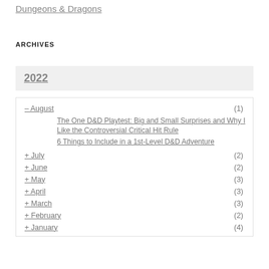Dungeons & Dragons
ARCHIVES
2022
– August (1)
The One D&D Playtest: Big and Small Surprises and Why I Like the Controversial Critical Hit Rule
6 Things to Include in a 1st-Level D&D Adventure
+ July (2)
+ June (2)
+ May (3)
+ April (3)
+ March (3)
+ February (2)
+ January (4)